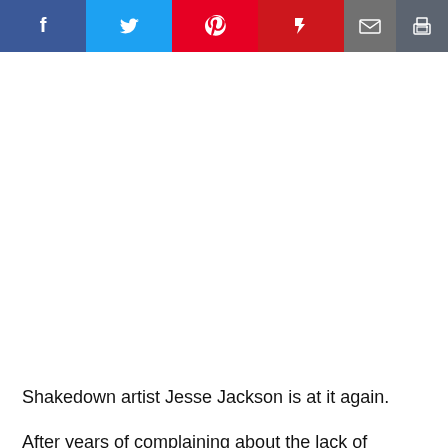[Figure (other): Social media share bar with Facebook, Twitter, Pinterest, Flipboard, Email, and Print buttons]
Shakedown artist Jesse Jackson is at it again.
After years of complaining about the lack of diversity on Wall Street, Jackson now has his sights set on Silicon Valley.